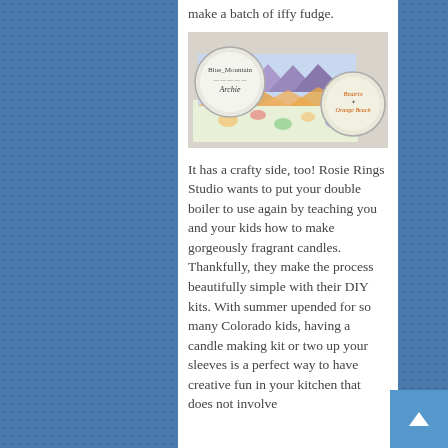make a batch of iffy fudge.
[Figure (photo): Photo of handmade candles and tins. Two rectangular decorative pieces with painted mountain and ocean/seashell scenes, alongside two small round tins labeled 'Blue Mountain Archie' and 'Beatrix Orange Beach'.]
It has a crafty side, too! Rosie Rings Studio wants to put your double boiler to use again by teaching you and your kids how to make gorgeously fragrant candles. Thankfully, they make the process beautifully simple with their DIY kits. With summer upended for so many Colorado kids, having a candle making kit or two up your sleeves is a perfect way to have creative fun in your kitchen that does not involve